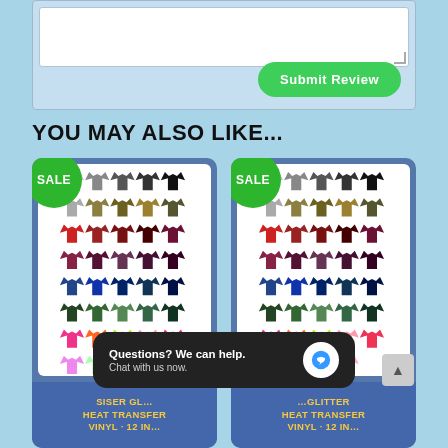[Figure (screenshot): Form area with textarea and green Submit Review button on light blue background]
YOU MAY ALSO LIKE...
[Figure (photo): Product card for Siser Glitter Heat Transfer Vinyl with SALE badge and shirt color swatches grid]
[Figure (photo): Second product card for Siser Glitter Heat Transfer Vinyl with SALE badge and shirt color swatches grid]
[Figure (screenshot): Chat widget overlay: Questions? We can help. Chat with us now.]